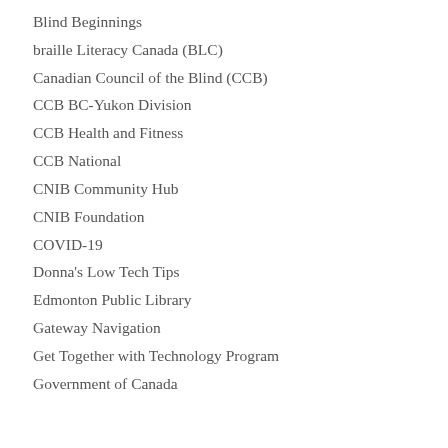Blind Beginnings
braille Literacy Canada (BLC)
Canadian Council of the Blind (CCB)
CCB BC-Yukon Division
CCB Health and Fitness
CCB National
CNIB Community Hub
CNIB Foundation
COVID-19
Donna's Low Tech Tips
Edmonton Public Library
Gateway Navigation
Get Together with Technology Program
Government of Canada